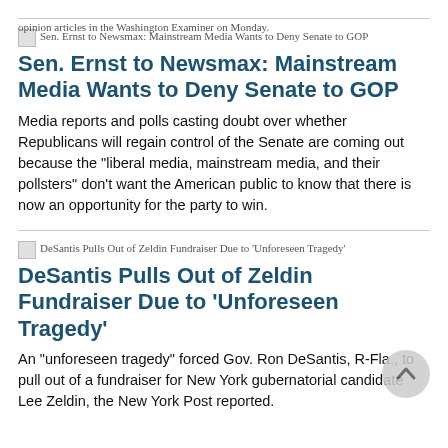opinion articles in the Washington Examiner on Monday.
[Figure (illustration): Small thumbnail image placeholder for article: Sen. Ernst to Newsmax: Mainstream Media Wants to Deny Senate to GOP]
Sen. Ernst to Newsmax: Mainstream Media Wants to Deny Senate to GOP
Media reports and polls casting doubt over whether Republicans will regain control of the Senate are coming out because the "liberal media, mainstream media, and their pollsters" don't want the American public to know that there is now an opportunity for the party to win.
[Figure (illustration): Small thumbnail image placeholder for article: DeSantis Pulls Out of Zeldin Fundraiser Due to 'Unforeseen Tragedy']
DeSantis Pulls Out of Zeldin Fundraiser Due to 'Unforeseen Tragedy'
An "unforeseen tragedy" forced Gov. Ron DeSantis, R-Fla., to pull out of a fundraiser for New York gubernatorial candidate Lee Zeldin, the New York Post reported.